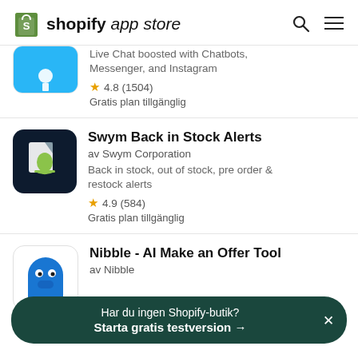shopify app store
Live Chat boosted with Chatbots, Messenger, and Instagram
★ 4.8 (1504)
Gratis plan tillgänglig
Swym Back in Stock Alerts
av Swym Corporation
Back in stock, out of stock, pre order & restock alerts
★ 4.9 (584)
Gratis plan tillgänglig
Nibble - AI Make an Offer Tool
av Nibble
Har du ingen Shopify-butik? Starta gratis testversion →